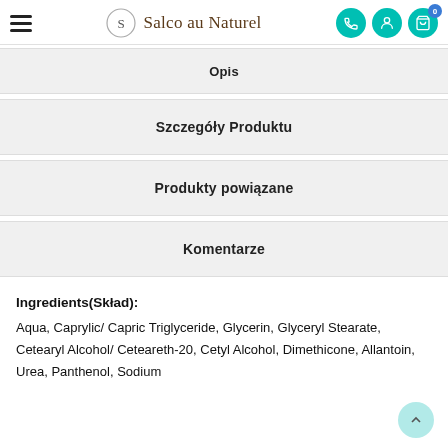Salco au Naturel
Opis
Szczegóły Produktu
Produkty powiązane
Komentarze
Ingredients(Skład):
Aqua, Caprylic/ Capric Triglyceride, Glycerin, Glyceryl Stearate, Cetearyl Alcohol/ Ceteareth-20, Cetyl Alcohol, Dimethicone, Allantoin, Urea, Panthenol, Sodium